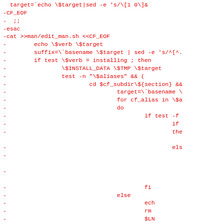Code diff snippet showing shell script modifications for man page installation